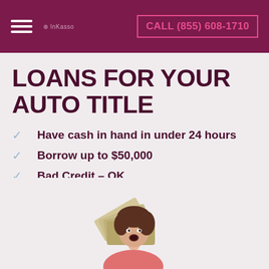CALL (855) 608-1710
LOANS FOR YOUR AUTO TITLE
Have cash in hand in under 24 hours
Borrow up to $50,000
Bad Credit – OK
Low and competitive rates
[Figure (photo): Woman with short dark hair holding a fan of US dollar bills, surprised expression, wearing a pink top]